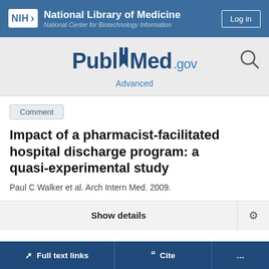NIH National Library of Medicine National Center for Biotechnology Information
[Figure (logo): PubMed.gov logo with search icon and Advanced link]
Comment
Impact of a pharmacist-facilitated hospital discharge program: a quasi-experimental study
Paul C Walker et al. Arch Intern Med. 2009.
Show details
Full text links | Cite | ...